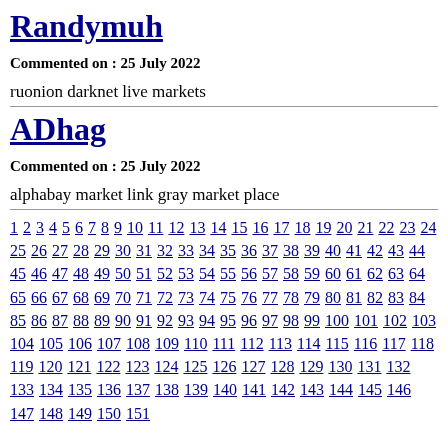Randymuh
Commented on : 25 July 2022
ruonion darknet live markets
ADhag
Commented on : 25 July 2022
alphabay market link gray market place
1 2 3 4 5 6 7 8 9 10 11 12 13 14 15 16 17 18 19 20 21 22 23 24 25 26 27 28 29 30 31 32 33 34 35 36 37 38 39 40 41 42 43 44 45 46 47 48 49 50 51 52 53 54 55 56 57 58 59 60 61 62 63 64 65 66 67 68 69 70 71 72 73 74 75 76 77 78 79 80 81 82 83 84 85 86 87 88 89 90 91 92 93 94 95 96 97 98 99 100 101 102 103 104 105 106 107 108 109 110 111 112 113 114 115 116 117 118 119 120 121 122 123 124 125 126 127 128 129 130 131 132 133 134 135 136 137 138 139 140 141 142 143 144 145 146 147 148 149 150 151